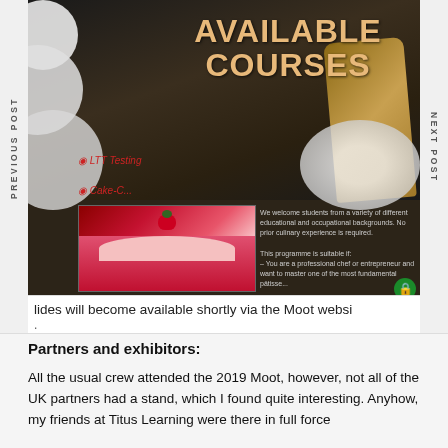[Figure (screenshot): Screenshot of a website showing 'Available Courses' banner with food/baking background images, list items including 'LTT Testing' and 'Cake-C...' in red italic text, a cake/dessert photo, and a green lock icon. Side navigation shows 'PREVIOUS POST' on left and 'NEXT POST' on right.]
lides will become available shortly via the Moot websi
.
Partners and exhibitors:
All the usual crew attended the 2019 Moot, however, not all of the UK partners had a stand, which I found quite interesting. Anyhow, my friends at Titus Learning were there in full force